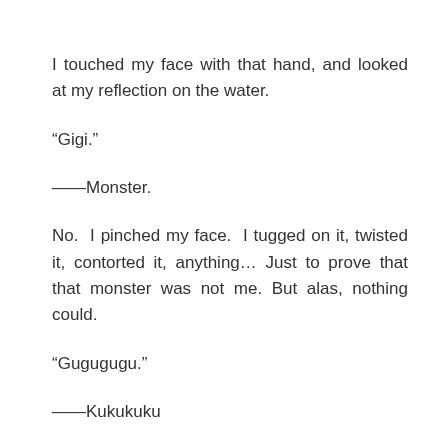I touched my face with that hand, and looked at my reflection on the water.
“Gigi.”
——Monster.
No. I pinched my face. I tugged on it, twisted it, contorted it, anything… Just to prove that that monster was not me. But alas, nothing could.
“Gugugugu.”
——Kukukuku
“Gya–gaggugugu!”